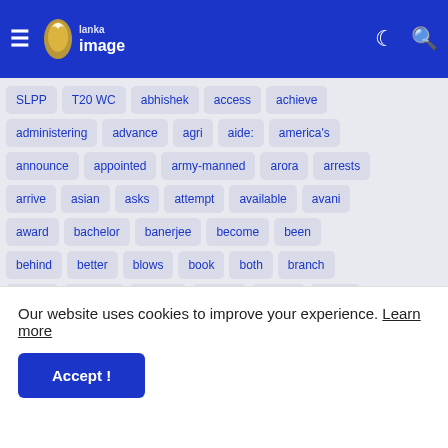Lanka Image — navigation bar with hamburger menu, logo, moon icon, search icon
SLPP
T20 WC
abhishek
access
achieve
administering
advance
agri
aide:
america's
announce
appointed
army-manned
arora
arrests
arrive
asian
asks
attempt
available
avani
award
bachelor
banerjee
become
been
behind
better
blows
book
both
branch
breast
briefing
captain
career
carpet
carrie
celebrity
celebs
certified
ceylinco
chairman
Our website uses cookies to improve your experience. Learn more